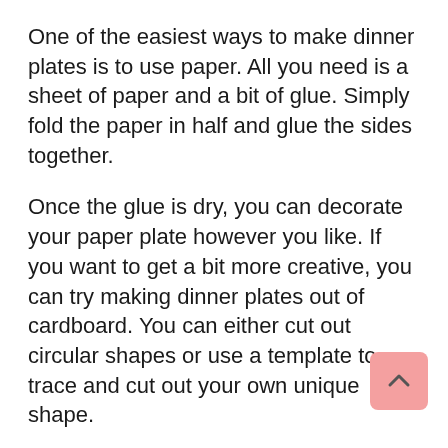One of the easiest ways to make dinner plates is to use paper. All you need is a sheet of paper and a bit of glue. Simply fold the paper in half and glue the sides together.
Once the glue is dry, you can decorate your paper plate however you like. If you want to get a bit more creative, you can try making dinner plates out of cardboard. You can either cut out circular shapes or use a template to trace and cut out your own unique shape.
Once you have your cardboard plates, you can decorate them with paint, markers, or even fabric. For something a bit more durable, you can make dinner plates out of wood.